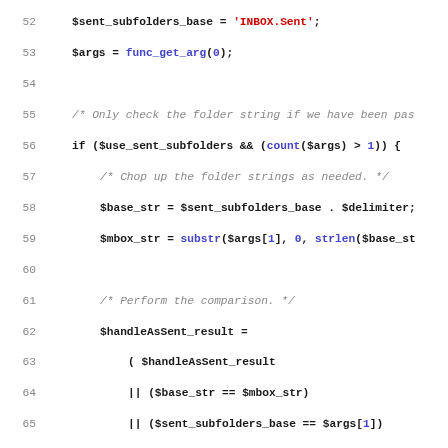[Figure (screenshot): Source code listing in PHP showing lines 52-83 of a function dealing with sent subfolders preferences, with syntax highlighting: bold black for variables, blue for function names, red for string literals, gray italic for comments.]